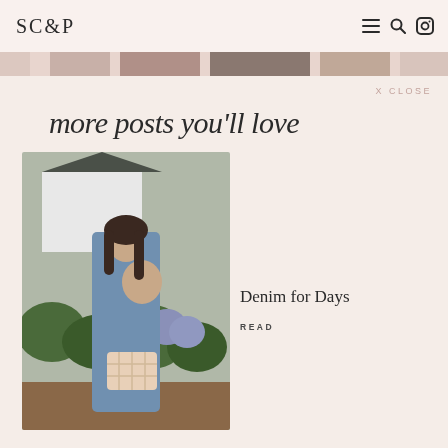SC&P
[Figure (screenshot): Top image strip showing partial fashion/lifestyle photos]
X CLOSE
more posts you'll love
[Figure (photo): Woman in denim dress holding a baby/toddler, standing outdoors near hydrangeas and a white farmhouse, carrying a beige quilted bag]
Denim for Days
READ